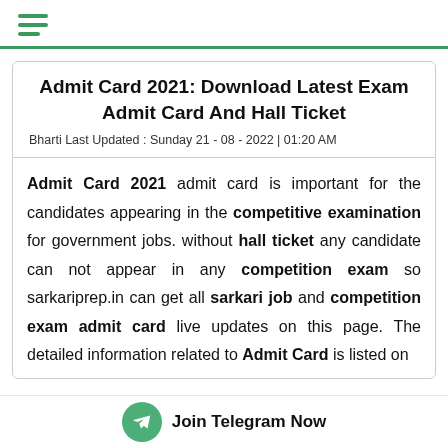☰ (hamburger menu icon)
Admit Card 2021: Download Latest Exam Admit Card And Hall Ticket
Bharti Last Updated : Sunday 21 - 08 - 2022 | 01:20 AM
Admit Card 2021 admit card is important for the candidates appearing in the competitive examination for government jobs. without hall ticket any candidate can not appear in any competition exam so sarkariprep.in can get all sarkari job and competition exam admit card live updates on this page. The detailed information related to Admit Card is listed on
Join Telegram Now